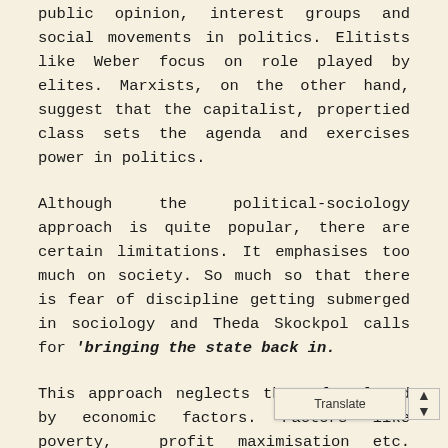public opinion, interest groups and social movements in politics. Elitists like Weber focus on role played by elites. Marxists, on the other hand, suggest that the capitalist, propertied class sets the agenda and exercises power in politics.
Although the political-sociology approach is quite popular, there are certain limitations. It emphasises too much on society. So much so that there is fear of discipline getting submerged in sociology and Theda Skockpol calls for 'bringing the state back in.
This approach neglects the role played by economic factors. Factors like poverty, profit maximisation etc. Further the method also